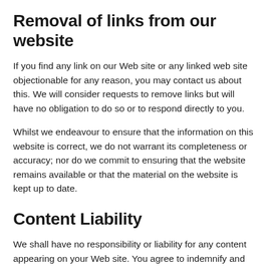Removal of links from our website
If you find any link on our Web site or any linked web site objectionable for any reason, you may contact us about this. We will consider requests to remove links but will have no obligation to do so or to respond directly to you.
Whilst we endeavour to ensure that the information on this website is correct, we do not warrant its completeness or accuracy; nor do we commit to ensuring that the website remains available or that the material on the website is kept up to date.
Content Liability
We shall have no responsibility or liability for any content appearing on your Web site. You agree to indemnify and defend us against all claims arising out of or based upon your Website. No link(s) may appear on any page on your Web site